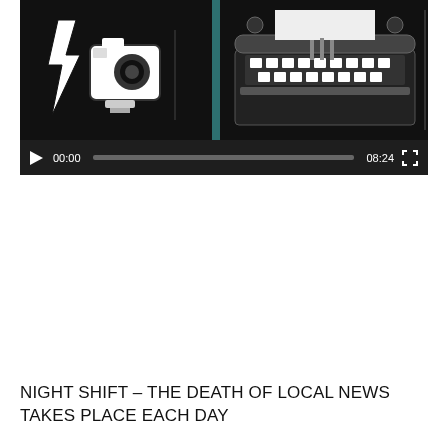[Figure (screenshot): Video player showing an 8:24 duration video at 00:00. The video thumbnail shows two black and white illustrated panels: left panel depicts a lightning bolt and a camera/robot device, right panel depicts a vintage typewriter or printing press. Controls include a play button, time display showing 00:00, a progress bar, duration 08:24, and a fullscreen button.]
NIGHT SHIFT – THE DEATH OF LOCAL NEWS TAKES PLACE EACH DAY